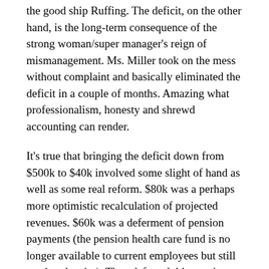the good ship Ruffing. The deficit, on the other hand, is the long-term consequence of the strong woman/super manager's reign of mismanagement. Ms. Miller took on the mess without complaint and basically eliminated the deficit in a couple of months. Amazing what professionalism, honesty and shrewd accounting can render.
It's true that bringing the deficit down from $500k to $40k involved some slight of hand as well as some real reform. $80k was a perhaps more optimistic recalculation of projected revenues. $60k was a deferment of pension payments (the pension health care fund is no longer available to current employees but still costing the city). They deferred this pension payment to make the deficit smaller although paying it would have meant some savings. Next, they clipped $100k out of the contingency fund for litigation at the exact moment that Fort Bragg is likely to be sued over